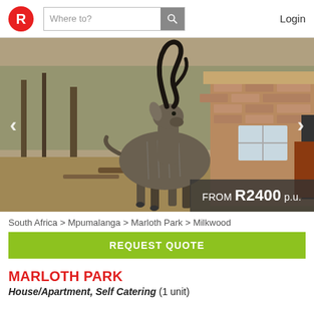R | Where to? [search] Login
[Figure (photo): A kudu antelope standing in front of a brick lodge building in a dry bush setting. Price overlay reads: FROM R2400 p.u.]
South Africa > Mpumalanga > Marloth Park > Milkwood
REQUEST QUOTE
MARLOTH PARK
House/Apartment, Self Catering (1 unit)